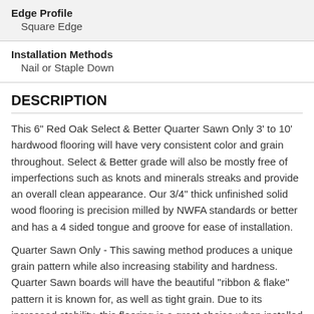Edge Profile
Square Edge
Installation Methods
Nail or Staple Down
DESCRIPTION
This 6" Red Oak Select & Better Quarter Sawn Only 3' to 10' hardwood flooring will have very consistent color and grain throughout. Select & Better grade will also be mostly free of imperfections such as knots and minerals streaks and provide an overall clean appearance. Our 3/4" thick unfinished solid wood flooring is precision milled by NWFA standards or better and has a 4 sided tongue and groove for ease of installation.
Quarter Sawn Only - This sawing method produces a unique grain pattern while also increasing stability and hardness. Quarter Sawn boards will have the beautiful "ribbon & flake" pattern it is known for, as well as tight grain. Due to its increased stability, this flooring is a great choice when installed over approved radiant heat systems.